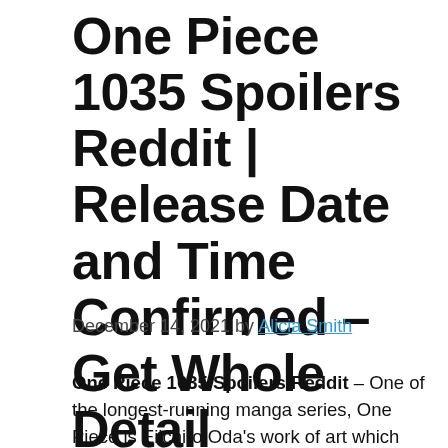One Piece 1035 Spoilers Reddit | Release Date and Time Confirmed – Get Whole Detail
December 14, 2021 by Alicia Smith
One Piece 1035 Spoilers Reddit – One of the longest-running manga series, One Piece is Eiichiro Oda's work of art which holds the award of being the most elevated selling manga ever, it is a shonen privateers story which spins around the privateer Monkey D.